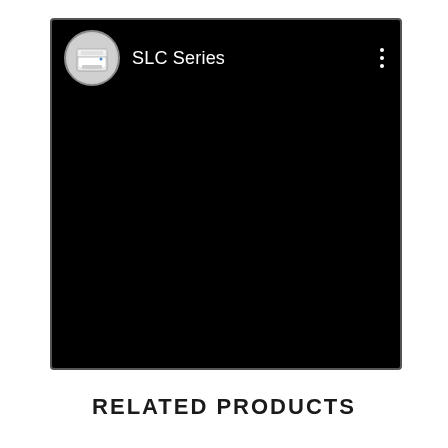[Figure (screenshot): A YouTube-style video card with a black background. In the top-left corner there is a circular avatar showing a printer/scanner device image with the channel name 'SLC Series' in white text next to it. Three vertical dots (options menu) appear in the top-right. The main content area is entirely black (video thumbnail not visible).]
RELATED PRODUCTS